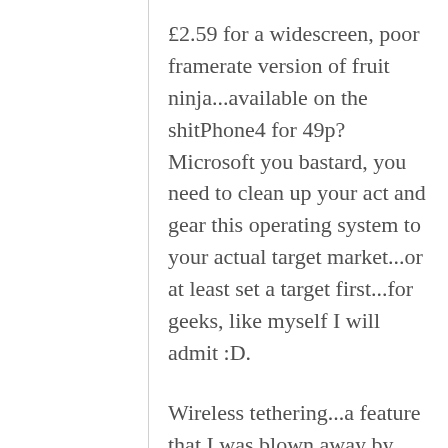£2.59 for a widescreen, poor framerate version of fruit ninja...available on the shitPhone4 for 49p? Microsoft you bastard, you need to clean up your act and gear this operating system to your actual target market...or at least set a target first...for geeks, like myself I will admit :D.
Wireless tethering...a feature that I was blown away by with the Galaxy S. Simple ability to